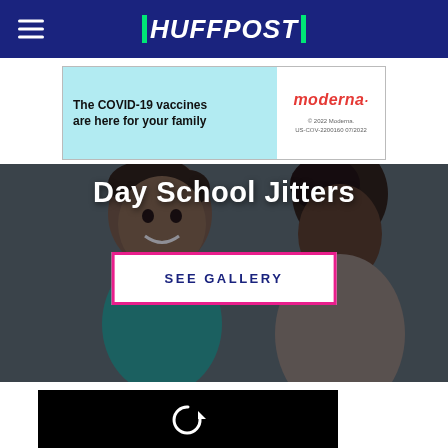HUFFPOST
[Figure (photo): Moderna advertisement banner: teal background with text 'The COVID-19 vaccines are here for your family' and Moderna logo on white background with fine print '© 2022 Moderna. US-COV-2200160 07/2022']
[Figure (photo): Hero image showing smiling child and adult (parent), dark overlay, with title 'Day School Jitters' and 'SEE GALLERY' button]
[Figure (screenshot): Black video player with replay icon (circular arrow)]